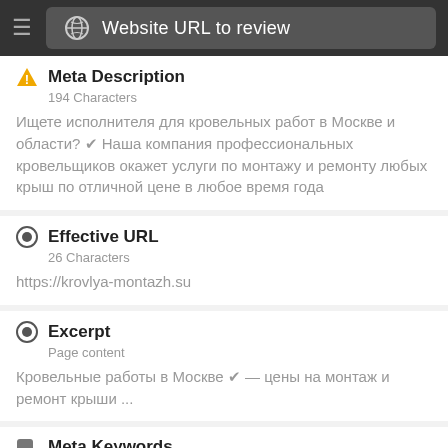Website URL to review
Meta Description
194 Characters
Ищете исполнителя для кровельных работ в Москве и области? ✔ Наша компания профессиональных кровельщиков окажет услуги по монтажу и ремонту любых крыш по отличной цене в любое время года
Effective URL
26 Characters
https://krovlya-montazh.su
Excerpt
Page content
Кровельные работы в Москве ✔ — цены на монтаж и ремонт крыши ...
Meta Keywords
7 Detected
КРОВЕЛЬНЫЕ
РАБОТЫ
МОСКВЕ
ЦЕНЫ